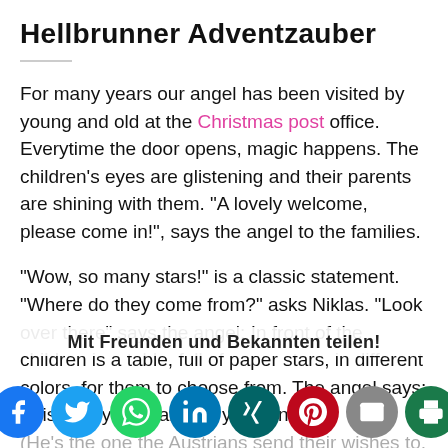Hellbrunner Adventzauber
For many years our angel has been visited by young and old at the Christmas post office. Everytime the door opens, magic happens. The children’s eyes are glistening and their parents are shining with them. “A lovely welcome, please come in!”, says the angel to the families.
“Wow, so many stars!” is a classic statement. “Where do they come from?” asks Niklas. “Look over there” says the angel: In front of the children is a table, full of paper stars, in different colors, for them to choose from. The angel says: “It is now your star, and you can… (He’s the one the Austrians send their wishes to, the
Mit Freunden und Bekannten teilen!